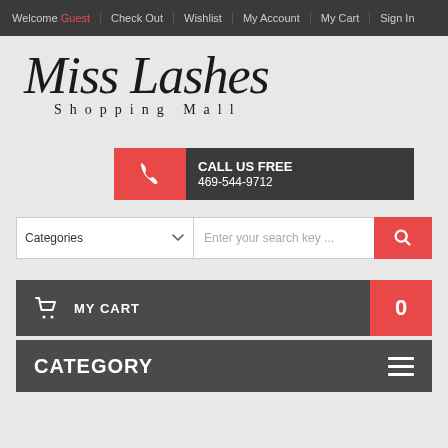Welcome Guest | Check Out | Wishlist | My Account | My Cart | Sign In
[Figure (logo): Miss Lashes Shopping Mall logo in italic script with Shopping Mall subtitle]
CALL US FREE 469-544-9712
Categories - Enter your search key ...
MY CART 0
CATEGORY